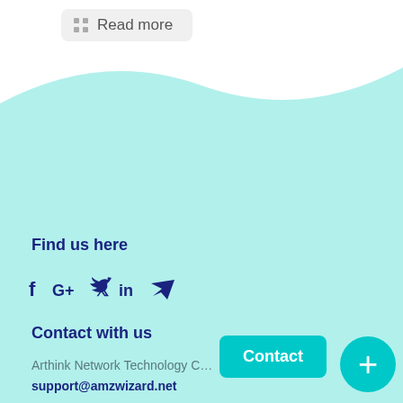Read more
Find us here
[Figure (infographic): Social media icons: Facebook (f), Google+ (G+), Twitter bird, LinkedIn (in), Telegram arrow]
Contact with us
Arthink Network Technology C…
support@amzwizard.net
Contact